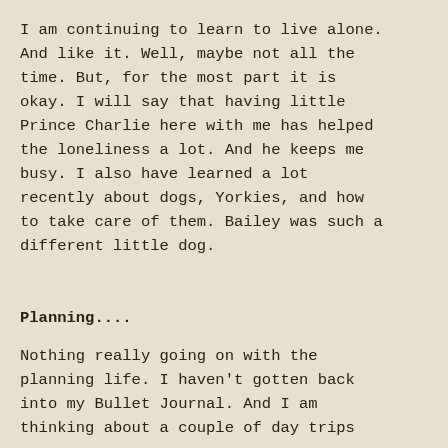I am continuing to learn to live alone. And like it. Well, maybe not all the time. But, for the most part it is okay. I will say that having little Prince Charlie here with me has helped the loneliness a lot. And he keeps me busy. I also have learned a lot recently about dogs, Yorkies, and how to take care of them. Bailey was such a different little dog.
Planning....
Nothing really going on with the planning life. I haven't gotten back into my Bullet Journal. And I am thinking about a couple of day trips